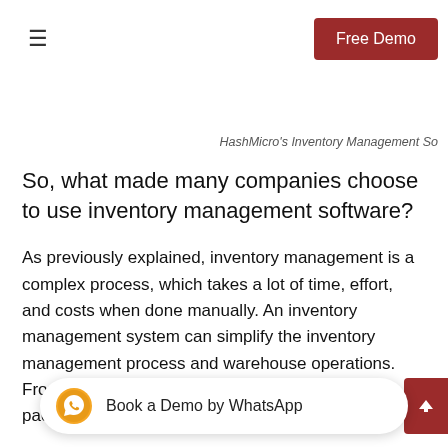Free Demo
HashMicro's Inventory Management So
So, what made many companies choose to use inventory management software?
As previously explained, inventory management is a complex process, which takes a lot of time, effort, and costs when done manually. An inventory management system can simplify the inventory management process and warehouse operations. From inventory tracking, ordering, picking and packing, inventory valuation, der and many more.